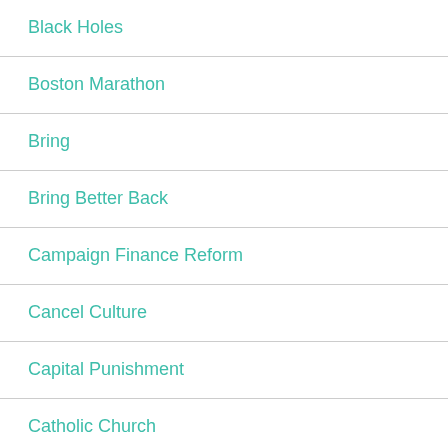Black Holes
Boston Marathon
Bring
Bring Better Back
Campaign Finance Reform
Cancel Culture
Capital Punishment
Catholic Church